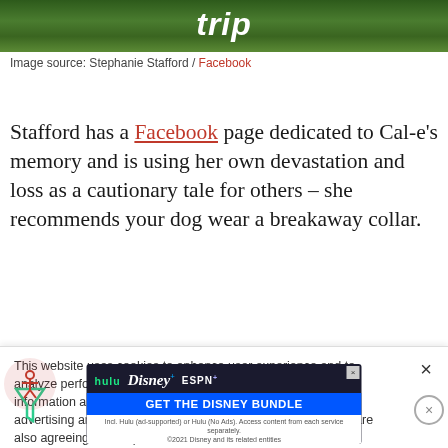[Figure (photo): Top portion of an image showing grass/foliage background with the word 'trip' in large white italic text overlaid]
Image source: Stephanie Stafford / Facebook
Stafford has a Facebook page dedicated to Cal-e's memory and is using her own devastation and loss as a cautionary tale for others – she recommends your dog wear a breakaway collar.
This website uses cookies to enhance user experience and to analyze performance and traffic on our website. We also share information about your use of our site with our social media, advertising and analytics partners. By accepting cookies, you are also agreeing to accept our site terms and conditions. Terms & Conditions
[Figure (other): Hulu Disney+ ESPN+ GET THE DISNEY BUNDLE advertisement banner]